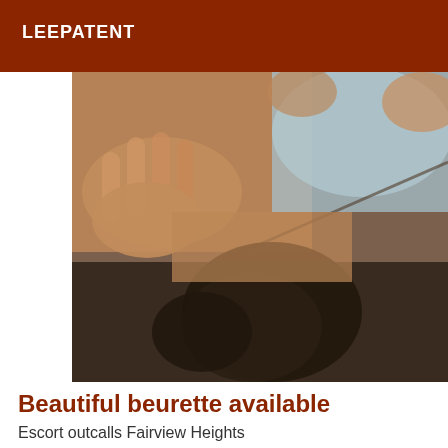LEEPATENT
[Figure (photo): A close-up photo showing a person's midsection wearing light blue underwear, with a hand resting on the body and dark fabric (possibly clothing or bedding) visible beneath.]
Beautiful beurette available
Escort outcalls Fairview Heights